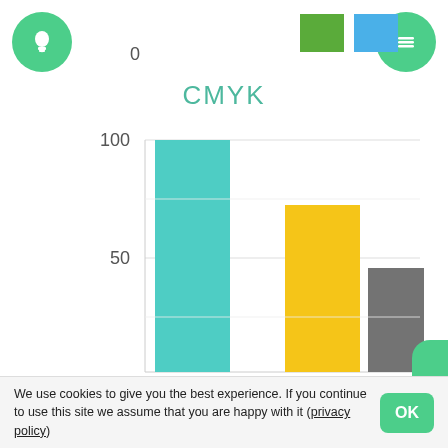[Figure (bar-chart): CMYK]
We use cookies to give you the best experience. If you continue to use this site we assume that you are happy with it (privacy policy)